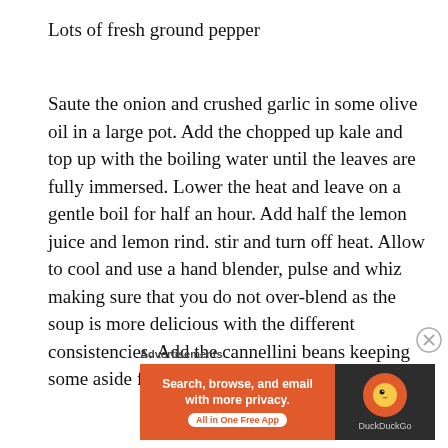Lots of fresh ground pepper
Saute the onion and crushed garlic in some olive oil in a large pot. Add the chopped up kale and top up with the boiling water until the leaves are fully immersed. Lower the heat and leave on a gentle boil for half an hour. Add half the lemon juice and lemon rind. stir and turn off heat. Allow to cool and use a hand blender, pulse and whiz making sure that you do not over-blend as the soup is more delicious with the different consistencies. Add the cannellini beans keeping some aside for garnish.
Advertisements
[Figure (other): DuckDuckGo advertisement banner: 'Search, browse, and email with more privacy. All in One Free App' with DuckDuckGo logo on dark background]